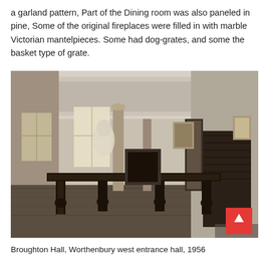a garland pattern, Part of the Dining room was also paneled in pine, Some of the original fireplaces were filled in with marble Victorian mantelpieces. Some had dog-grates, and some the basket type of grate.
[Figure (photo): Black and white photograph of Broughton Hall, Worthenbury west entrance hall, 1956. Shows a large interior hall with a prominent dark wooden table in the foreground, columns, windows with light streaming in, a staircase on the right, paintings on the walls, and a figure standing near the windows.]
Broughton Hall, Worthenbury west entrance hall, 1956